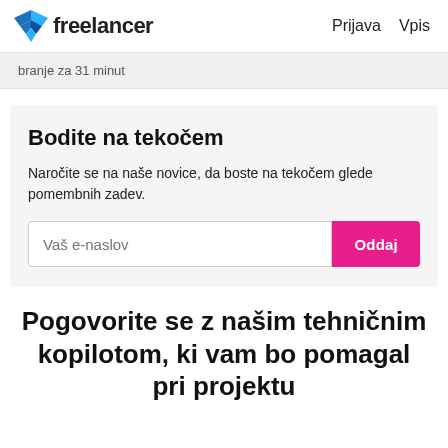freelancer   Prijava   Vpis
branje za 31 minut
Bodite na tekočem
Naročite se na naše novice, da boste na tekočem glede pomembnih zadev.
Vaš e-naslov   Oddaj
Pogovorite se z našim tehničnim kopilotom, ki vam bo pomagal pri projektu